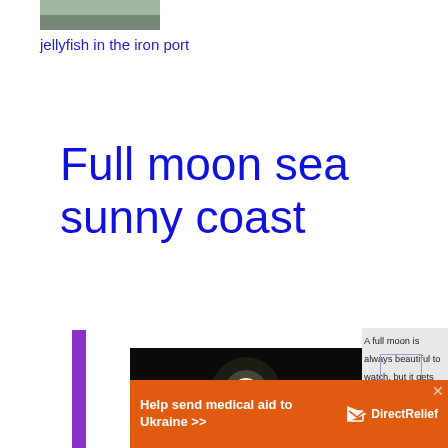[Figure (photo): Small thumbnail photo, partially visible, appears to be a coastal scene]
jellyfish in the iron port
Full moon sea sunny coast
[Figure (photo): Dark nighttime photo of a full moon reflecting on the sea. Video player overlay with text 'No compatible source was found for this media.']
A full moon is always beautiful to watch, but it gets even better from the
[Figure (other): Advertisement banner: Help send medical aid to Ukraine >> DirectRelief logo]